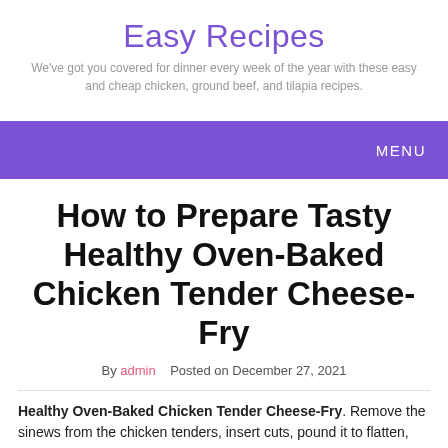Easy Recipes
We've got you covered for dinner every week of the year with these easy and cheap chicken, ground beef, and tilapia recipes.
MENU
How to Prepare Tasty Healthy Oven-Baked Chicken Tender Cheese-Fry
By admin   Posted on December 27, 2021
Healthy Oven-Baked Chicken Tender Cheese-Fry. Remove the sinews from the chicken tenders, insert cuts, pound it to flatten, and stretch out the pieces. Panko breadcrumbs are what give these breaded chicken tenders such a light, crunchy coating. The result is more like the